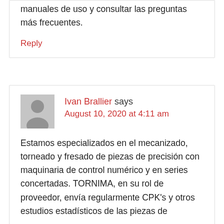manuales de uso y consultar las preguntas más frecuentes.
Reply
Ivan Brallier says
August 10, 2020 at 4:11 am
Estamos especializados en el mecanizado, torneado y fresado de piezas de precisión con maquinaria de control numérico y en series concertadas. TORNIMA, en su rol de proveedor, envía regularmente CPK's y otros estudios estadísticos de las piezas de